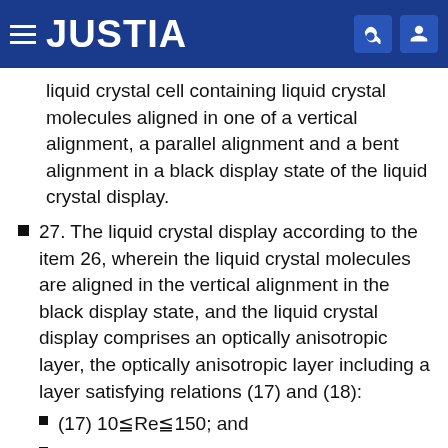JUSTIA
liquid crystal cell containing liquid crystal molecules aligned in one of a vertical alignment, a parallel alignment and a bent alignment in a black display state of the liquid crystal display.
27. The liquid crystal display according to the item 26, wherein the liquid crystal molecules are aligned in the vertical alignment in the black display state, and the liquid crystal display comprises an optically anisotropic layer, the optically anisotropic layer including a layer satisfying relations (17) and (18):
(17) 10≦Re≦150; and
(18) 50≦Rth≦400,
wherein Re and Rth are an in-plane retardation and a retardation in a thickness direction of the optically anisotropic layer, respectively, which are measured with a light having a wavelength within a visible region.